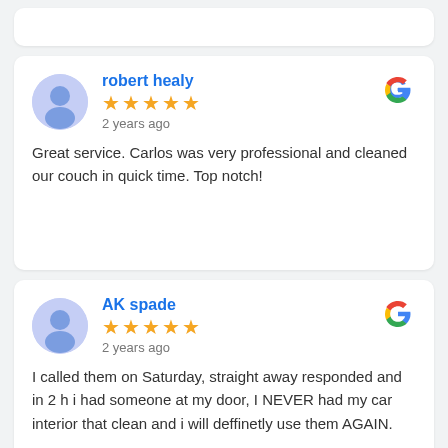robert healy
★★★★★
2 years ago
Great service. Carlos was very professional and cleaned our couch in quick time. Top notch!
AK spade
★★★★★
2 years ago
I called them on Saturday, straight away responded and in 2 h i had someone at my door, I NEVER had my car interior that clean and i will deffinetly use them AGAIN.